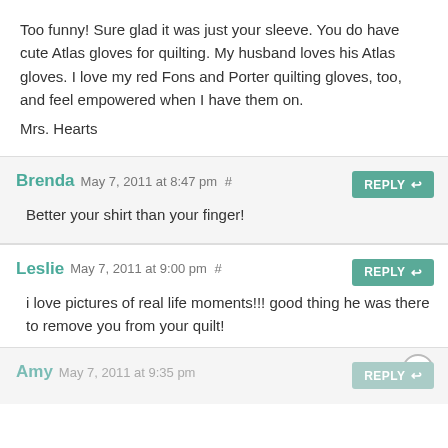Too funny! Sure glad it was just your sleeve. You do have cute Atlas gloves for quilting. My husband loves his Atlas gloves. I love my red Fons and Porter quilting gloves, too, and feel empowered when I have them on.
Mrs. Hearts
Brenda May 7, 2011 at 8:47 pm #
Better your shirt than your finger!
Leslie May 7, 2011 at 9:00 pm #
i love pictures of real life moments!!! good thing he was there to remove you from your quilt!
Amy May 7, 2011 at 9:35 pm